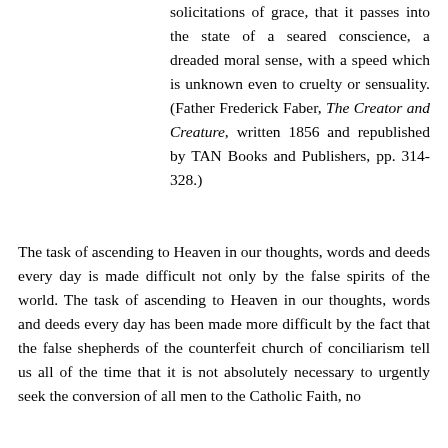solicitations of grace, that it passes into the state of a seared conscience, a dreaded moral sense, with a speed which is unknown even to cruelty or sensuality. (Father Frederick Faber, The Creator and Creature, written 1856 and republished by TAN Books and Publishers, pp. 314-328.)
The task of ascending to Heaven in our thoughts, words and deeds every day is made difficult not only by the false spirits of the world. The task of ascending to Heaven in our thoughts, words and deeds every day has been made more difficult by the fact that the false shepherds of the counterfeit church of conciliarism tell us all of the time that it is not absolutely necessary to urgently seek the conversion of all men to the Catholic Faith, no